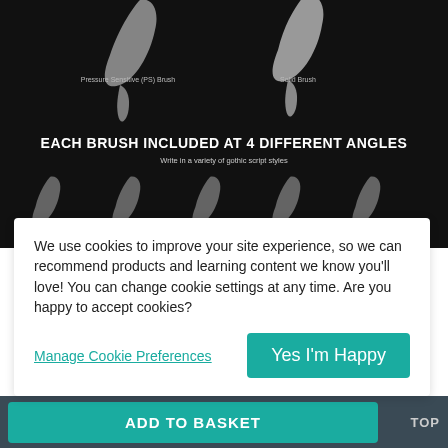[Figure (illustration): Dark background image showing brush strokes at different angles. Two large white/grey calligraphic brush strokes visible at top, labeled 'Pressure Sensitive (PS) Brush' and 'Solid Brush'. Center text reads 'EACH BRUSH INCLUDED AT 4 DIFFERENT ANGLES' with subtitle 'Write in a variety of gothic script styles'. Bottom section shows multiple smaller brush strokes.]
We use cookies to improve your site experience, so we can recommend products and learning content we know you'll love! You can change cookie settings at any time. Are you happy to accept cookies?
Manage Cookie Preferences
Yes I'm Happy
Add to Basket
TOP